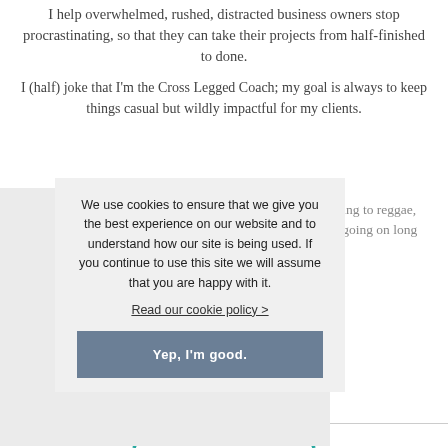I help overwhelmed, rushed, distracted business owners stop procrastinating, so that they can take their projects from half-finished to done.
I (half) joke that I'm the Cross Legged Coach; my goal is always to keep things casual but wildly impactful for my clients.
When I'm not coaching and leading workshops, I'm listening to reggae, drinking Compass Pecan coffee, reading non-fiction, and going on long walks through DC.
We use cookies to ensure that we give you the best experience on our website and to understand how our site is being used. If you continue to use this site we will assume that you are happy with it.
Read our cookie policy >
Yep, I'm good.
[Figure (logo): Partial circular logo at bottom center showing letters ONAL C]